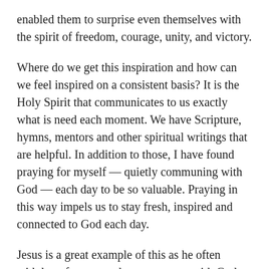enabled them to surprise even themselves with the spirit of freedom, courage, unity, and victory.
Where do we get this inspiration and how can we feel inspired on a consistent basis? It is the Holy Spirit that communicates to us exactly what is need each moment. We have Scripture, hymns, mentors and other spiritual writings that are helpful. In addition to those, I have found praying for myself — quietly communing with God — each day to be so valuable. Praying in this way impels us to stay fresh, inspired and connected to God each day.
Jesus is a great example of this as he often withdrew from crowds to commune with God — to receive the inspiration needed to continue his walk with God. We even have the account of his visit with Elijah and Moses on the Mount of Transfiguration who, no doubt, gave him